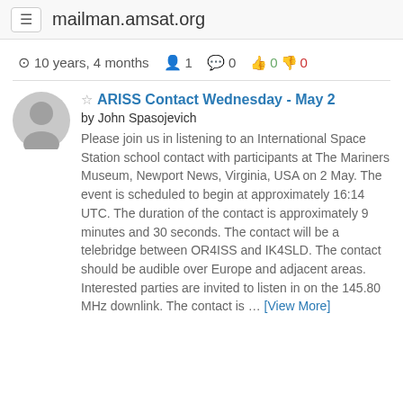mailman.amsat.org
10 years, 4 months  1  0  0  0
ARISS Contact Wednesday - May 2
by John Spasojevich
Please join us in listening to an International Space Station school contact with participants at The Mariners Museum, Newport News, Virginia, USA on 2 May. The event is scheduled to begin at approximately 16:14 UTC. The duration of the contact is approximately 9 minutes and 30 seconds. The contact will be a telebridge between OR4ISS and IK4SLD. The contact should be audible over Europe and adjacent areas. Interested parties are invited to listen in on the 145.80 MHz downlink. The contact is … [View More]